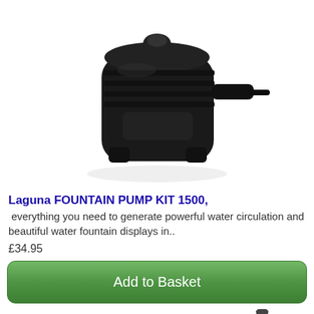[Figure (photo): Black fountain pump unit viewed from the side, showing motor housing with ribbed body and cable port]
Laguna FOUNTAIN PUMP KIT 1500,
everything you need to generate powerful water circulation and beautiful water fountain displays in..
£34.95
Add to Basket
[Figure (photo): Small submersible pump with long brown cable coiled around it, viewed from above at an angle, showing the pump connector nozzle]